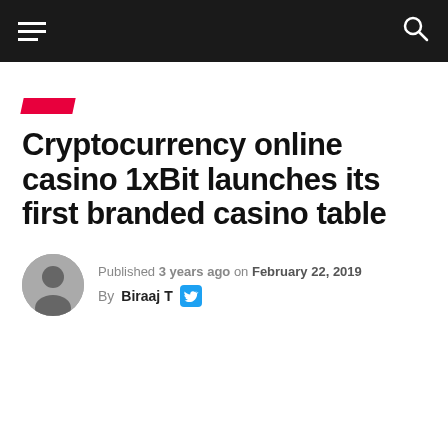Navigation bar with hamburger menu and search icon
Cryptocurrency online casino 1xBit launches its first branded casino table
Published 3 years ago on February 22, 2019
By Biraaj T